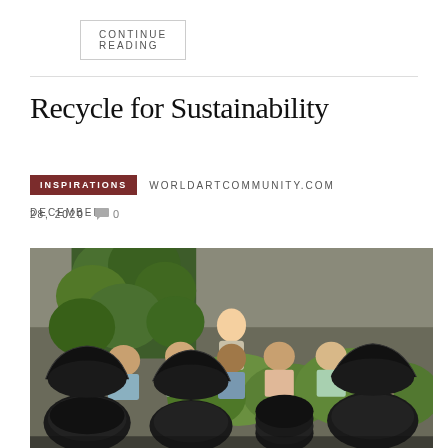CONTINUE READING
Recycle for Sustainability
INSPIRATIONS   WORLDARTCOMMUNITY.COM   DECEMBER 28, 2020   0
[Figure (photo): Group photo of a woman and several men posed outdoors among recycled tire furniture (black wicker-style chairs and stools made from tires), with greenery and ivy-covered walls in the background.]